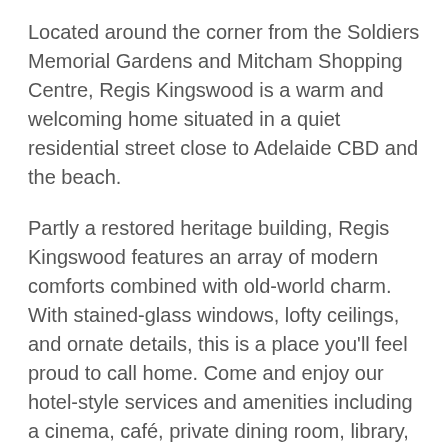Located around the corner from the Soldiers Memorial Gardens and Mitcham Shopping Centre, Regis Kingswood is a warm and welcoming home situated in a quiet residential street close to Adelaide CBD and the beach.
Partly a restored heritage building, Regis Kingswood features an array of modern comforts combined with old-world charm. With stained-glass windows, lofty ceilings, and ornate details, this is a place you'll feel proud to call home. Come and enjoy our hotel-style services and amenities including a cinema, café, private dining room, library, hair salon, day spa and more.
At Regis Kingswood, our people are our greatest asset. Our qualified and dedicated team provides high-quality